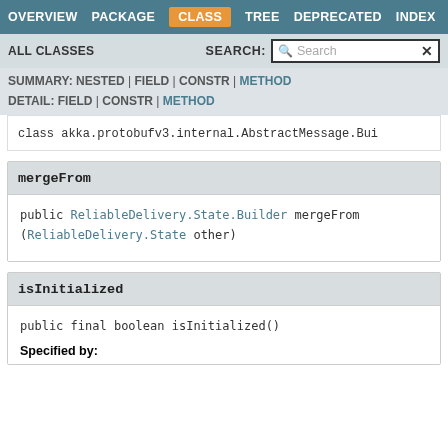OVERVIEW | PACKAGE | CLASS | TREE | DEPRECATED | INDEX
ALL CLASSES   SEARCH: Search
SUMMARY: NESTED | FIELD | CONSTR | METHOD
DETAIL: FIELD | CONSTR | METHOD
class akka.protobufv3.internal.AbstractMessage.Bui
mergeFrom
public ReliableDelivery.State.Builder mergeFrom
(ReliableDelivery.State other)
isInitialized
public final boolean isInitialized()
Specified by: